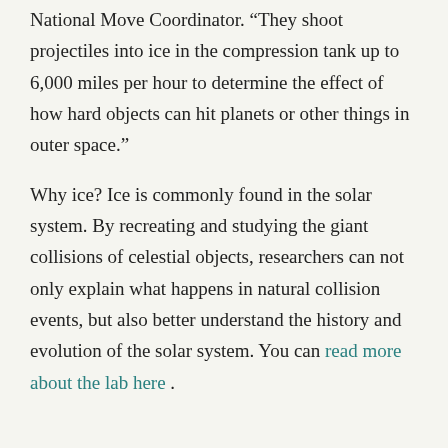National Move Coordinator. “They shoot projectiles into ice in the compression tank up to 6,000 miles per hour to determine the effect of how hard objects can hit planets or other things in outer space.”
Why ice? Ice is commonly found in the solar system. By recreating and studying the giant collisions of celestial objects, researchers can not only explain what happens in natural collision events, but also better understand the history and evolution of the solar system. You can read more about the lab here .